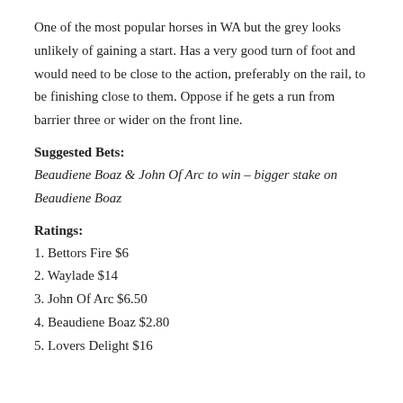One of the most popular horses in WA but the grey looks unlikely of gaining a start. Has a very good turn of foot and would need to be close to the action, preferably on the rail, to be finishing close to them. Oppose if he gets a run from barrier three or wider on the front line.
Suggested Bets:
Beaudiene Boaz & John Of Arc to win – bigger stake on Beaudiene Boaz
Ratings:
1. Bettors Fire $6
2. Waylade $14
3. John Of Arc $6.50
4. Beaudiene Boaz $2.80
5. Lovers Delight $16